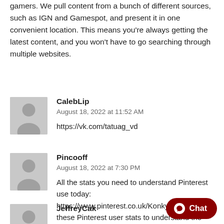gamers. We pull content from a bunch of different sources, such as IGN and Gamespot, and present it in one convenient location. This means you're always getting the latest content, and you won't have to go searching through multiple websites.
CalebLip
August 18, 2022 at 11:52 AM
https://vk.com/tatuag_vd
Pincooff
August 18, 2022 at 7:30 PM
All the stats you need to understand Pinterest use today: https://www.pinterest.co.uk/Konky18/ . Browse these Pinterest user stats to understand the platform's … their list of 2022 predictions is a good source of inspo for this year.
JeffreyCak